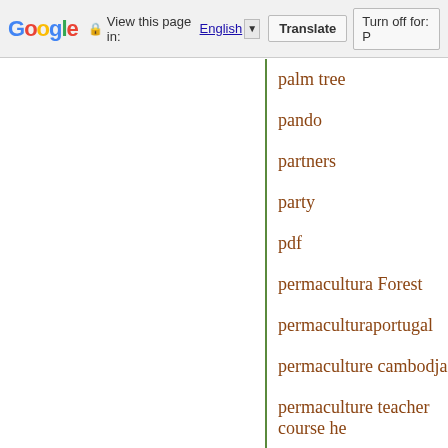Google  View this page in: English  Translate  Turn off for: P
palm tree
pando
partners
party
pdf
permacultura Forest
permaculturaportugal
permaculture cambodja
permaculture teacher course he
permaculture teacher training
permaculturecourses
permacultureportugal